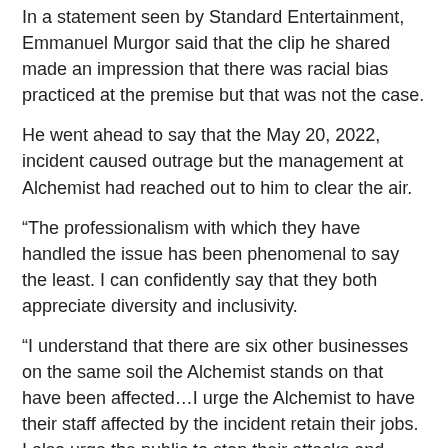In a statement seen by Standard Entertainment, Emmanuel Murgor said that the clip he shared made an impression that there was racial bias practiced at the premise but that was not the case.
He went ahead to say that the May 20, 2022, incident caused outrage but the management at Alchemist had reached out to him to clear the air.
“The professionalism with which they have handled the issue has been phenomenal to say the least. I can confidently say that they both appreciate diversity and inclusivity.
“I understand that there are six other businesses on the same soil the Alchemist stands on that have been affected…I urge the Alchemist to have their staff affected by the incident retain their jobs. I also urge the public to stop their attacks and threats against the Alchemist on social media,” read a statement signed by Murgor’s advocate Titus Towett.
Alchemist also issued a statement on the same saying they met Murgor and his advocate and they decided not to press charges on the complainant.
“A monument thinking about to reveal the decision…